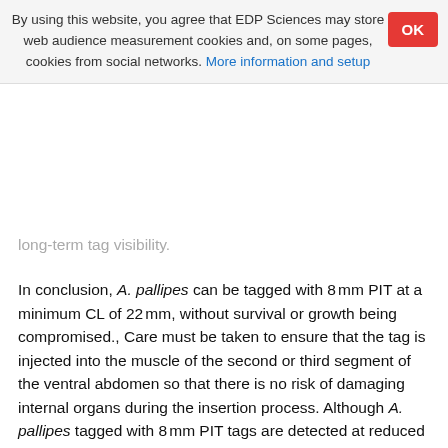By using this website, you agree that EDP Sciences may store web audience measurement cookies and, on some pages, cookies from social networks. More information and setup
long-term tag visibility.
In conclusion, A. pallipes can be tagged with 8 mm PIT at a minimum CL of 22 mm, without survival or growth being compromised., Care must be taken to ensure that the tag is injected into the muscle of the second or third segment of the ventral abdomen so that there is no risk of damaging internal organs during the insertion process. Although A. pallipes tagged with 8 mm PIT tags are detected at reduced distances to those with 12 mm PIT tags (mean difference 35.6 mm) this drawback is outweighed by other benefits conveyed by using the smaller tag. An 8 mm tag allows captive born, sub-adult crayfish to be tagged, prior to release, and reduces the risk of internal organ damage to crayfish irrespective of size.